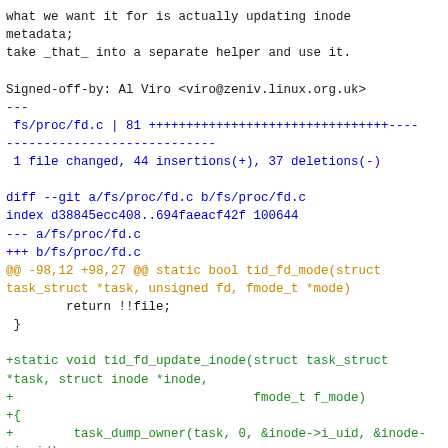what we want it for is actually updating inode metadata;
take _that_ into a separate helper and use it.

Signed-off-by: Al Viro <viro@zeniv.linux.org.uk>
---
 fs/proc/fd.c | 81 ++++++++++++++++++++++++++++++++----
----------------------------
 1 file changed, 44 insertions(+), 37 deletions(-)

diff --git a/fs/proc/fd.c b/fs/proc/fd.c
index d38845ecc408..694faeacf42f 100644
--- a/fs/proc/fd.c
+++ b/fs/proc/fd.c
@@ -98,12 +98,27 @@ static bool tid_fd_mode(struct task_struct *task, unsigned fd, fmode_t *mode)
        return !!file;
 }

+static void tid_fd_update_inode(struct task_struct *task, struct inode *inode,
+                                fmode_t f_mode)
+{
+        task_dump_owner(task, 0, &inode->i_uid, &inode->i_gid);
+
+        if (S_ISLNK(inode->i_mode)) {
+                unsigned i_mode = S_IFLNK;
+                if (f_mode & FMODE_READ)